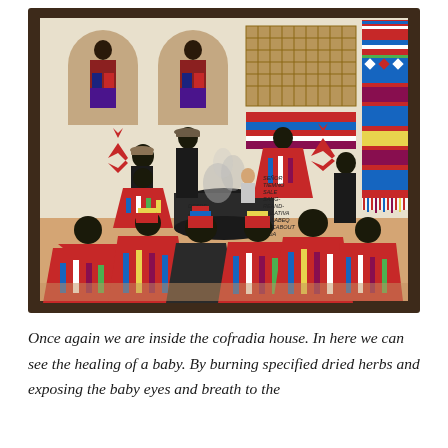[Figure (photo): A framed folk painting depicting a scene inside a cofradia house. The painting shows a group of people gathered around a large black pot or cauldron with smoke rising from it. Several figures in colorful traditional indigenous textiles and ponchos are seated with their backs to the viewer in the foreground. Standing figures wear black clothing and wide-brimmed hats. Two arch-shaped niches in the back wall contain small figures. Colorful woven textiles hang on the upper right wall. Red ribbon decorations appear on the walls. Spanish text is written on the painting near the center-right area. The painting is displayed in a dark wooden frame.]
Once again we are inside the cofradia house. In here we can see the healing of a baby. By burning specified dried herbs and exposing the baby eyes and breath to the